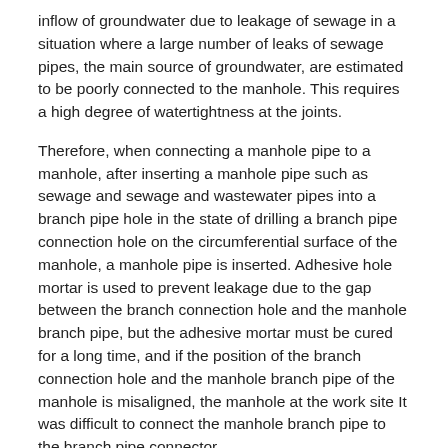inflow of groundwater due to leakage of sewage in a situation where a large number of leaks of sewage pipes, the main source of groundwater, are estimated to be poorly connected to the manhole. This requires a high degree of watertightness at the joints.
Therefore, when connecting a manhole pipe to a manhole, after inserting a manhole pipe such as sewage and sewage and wastewater pipes into a branch pipe hole in the state of drilling a branch pipe connection hole on the circumferential surface of the manhole, a manhole pipe is inserted. Adhesive hole mortar is used to prevent leakage due to the gap between the branch connection hole and the manhole branch pipe, but the adhesive mortar must be cured for a long time, and if the position of the branch connection hole and the manhole branch pipe of the manhole is misaligned, the manhole at the work site It was difficult to connect the manhole branch pipe to the branch pipe connector.
In order to solve the above problem, as shown in Patent Application No. 2005-09396, when forming a manhole, the sewer is formed integrally with the manhole through the